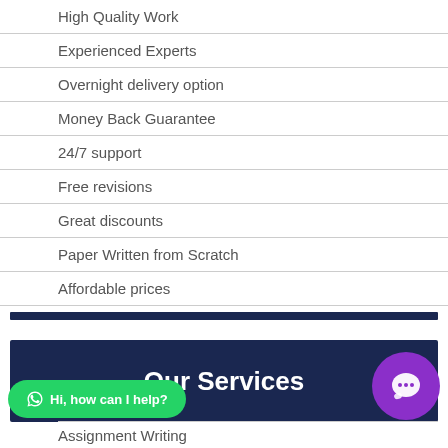High Quality Work
Experienced Experts
Overnight delivery option
Money Back Guarantee
24/7 support
Free revisions
Great discounts
Paper Written from Scratch
Affordable prices
Our Services
Assignment Writing